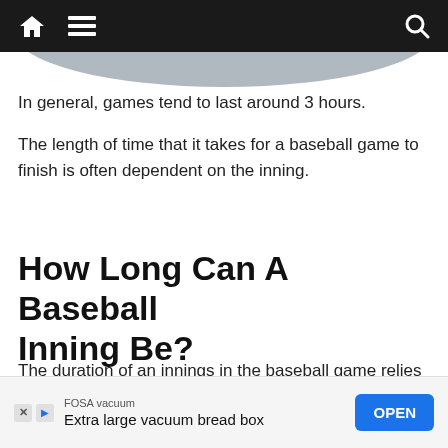[Navigation bar with home, menu, and search icons]
In general, games tend to last around 3 hours.
The length of time that it takes for a baseball game to finish is often dependent on the inning.
How Long Can A Baseball Inning Be?
The duration of an innings in the baseball game relies on the number of at-bats, changes in pitching, along with the speed of the pitcher. An inning will perhaps last for six outs w[redacted]